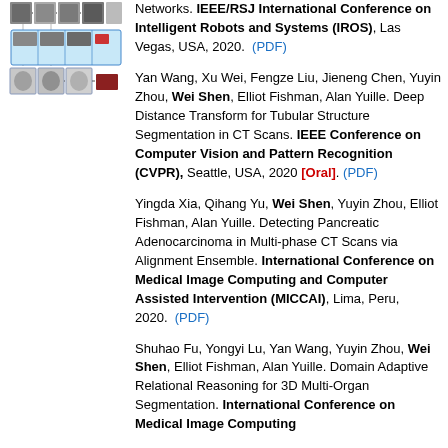[Figure (illustration): A figure showing a neural network diagram for medical image segmentation, with CT scan images and a series of connected network blocks arranged in rows.]
Networks. IEEE/RSJ International Conference on Intelligent Robots and Systems (IROS), Las Vegas, USA, 2020. (PDF)
Yan Wang, Xu Wei, Fengze Liu, Jieneng Chen, Yuyin Zhou, Wei Shen, Elliot Fishman, Alan Yuille. Deep Distance Transform for Tubular Structure Segmentation in CT Scans. IEEE Conference on Computer Vision and Pattern Recognition (CVPR), Seattle, USA, 2020 [Oral]. (PDF)
Yingda Xia, Qihang Yu, Wei Shen, Yuyin Zhou, Elliot Fishman, Alan Yuille. Detecting Pancreatic Adenocarcinoma in Multi-phase CT Scans via Alignment Ensemble. International Conference on Medical Image Computing and Computer Assisted Intervention (MICCAI), Lima, Peru, 2020. (PDF)
Shuhao Fu, Yongyi Lu, Yan Wang, Yuyin Zhou, Wei Shen, Elliot Fishman, Alan Yuille. Domain Adaptive Relational Reasoning for 3D Multi-Organ Segmentation. International Conference on Medical Image Computing